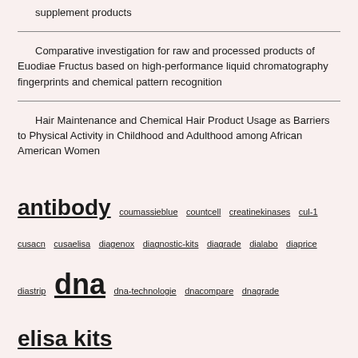supplement products
Comparative investigation for raw and processed products of Euodiae Fructus based on high-performance liquid chromatography fingerprints and chemical pattern recognition
Hair Maintenance and Chemical Hair Product Usage as Barriers to Physical Activity in Childhood and Adulthood among African American Women
antibody coumassieblue countcell creatinekinases cul-1 cusacn cusaelisa diagenox diagnostic-kits diagrade dialabo diaprice diastrip dna dna-technologie dnacompare dnagrade elisa kits